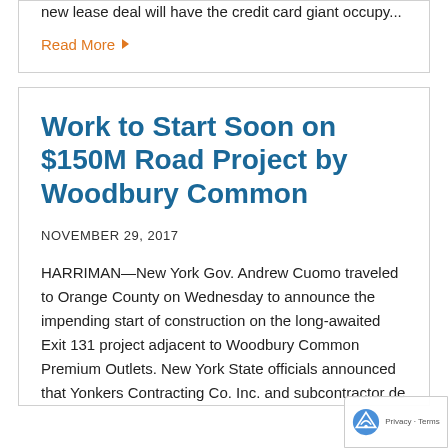new lease deal will have the credit card giant occupy...
Read More ▶
Work to Start Soon on $150M Road Project by Woodbury Common
NOVEMBER 29, 2017
HARRIMAN—New York Gov. Andrew Cuomo traveled to Orange County on Wednesday to announce the impending start of construction on the long-awaited Exit 131 project adjacent to Woodbury Common Premium Outlets. New York State officials announced that Yonkers Contracting Co. Inc. and subcontractor de...